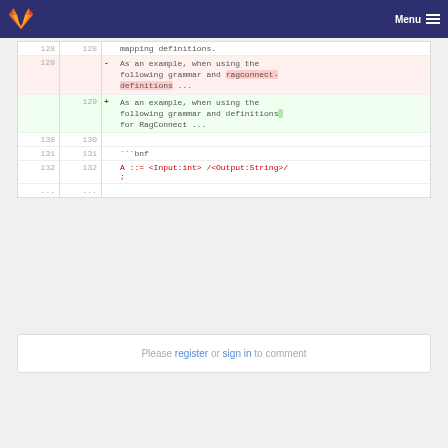[Figure (screenshot): GitLab navigation bar with fox logo and Menu hamburger icon on dark blue background]
| old | new | sign | code |
| --- | --- | --- | --- |
| 128 | 128 |  | mapping definitions. |
| 129 |  | - | As an example, when using the following grammar and ragconnect-definitions ... |
|  | 129 | + | As an example, when using the following grammar and definitions for RagConnect ... |
| 130 | 130 |  |  |
| 131 | 131 |  | ```bnf |
| 132 | 132 |  | A ::= <Input:int> /<Output:String>/; |
| ... | ... |  |  |
Please register or sign in to comment